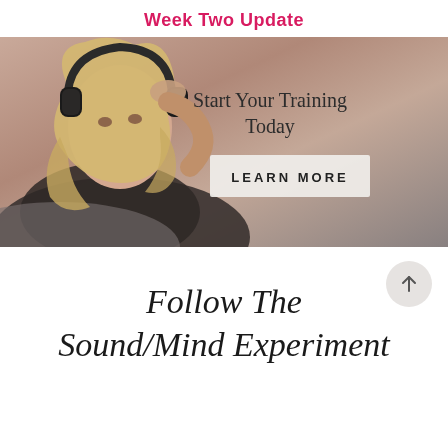Week Two Update
[Figure (photo): Banner image of a blonde woman wearing over-ear headphones, holding one hand to her head, reclining on a couch. Text overlay reads 'Start Your Training Today' with a 'LEARN MORE' button.]
Follow The Sound/Mind Experiment